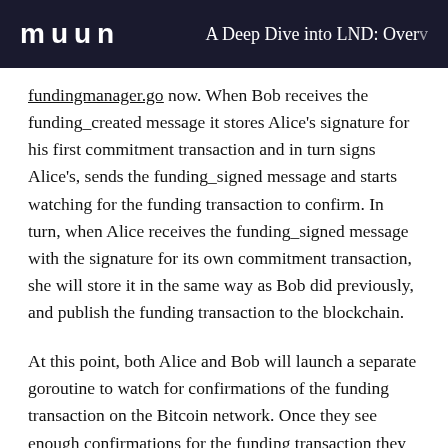muun   A Deep Dive into LND: Over...
fundingmanager.go now. When Bob receives the funding_created message it stores Alice's signature for his first commitment transaction and in turn signs Alice's, sends the funding_signed message and starts watching for the funding transaction to confirm. In turn, when Alice receives the funding_signed message with the signature for its own commitment transaction, she will store it in the same way as Bob did previously, and publish the funding transaction to the blockchain.
At this point, both Alice and Bob will launch a separate goroutine to watch for confirmations of the funding transaction on the Bitcoin network. Once they see enough confirmations for the funding transaction they...